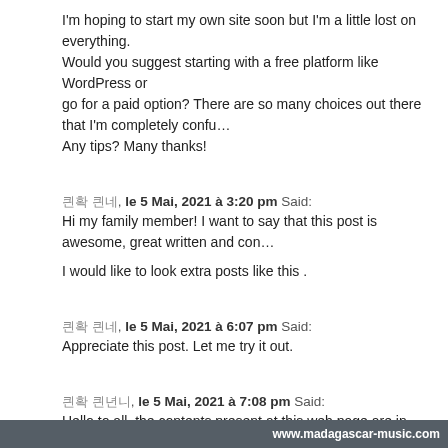I'm hoping to start my own site soon but I'm a little lost on everything. Would you suggest starting with a free platform like WordPress or go for a paid option? There are so many choices out there that I'm completely confu... Any tips? Many thanks!
쀄쁂 쀄, le 5 Mai, 2021 à 3:20 pm Said:
Hi my family member! I want to say that this post is awesome, great written and con...
I would like to look extra posts like this .
쀄쁂 쀄, le 5 Mai, 2021 à 6:07 pm Said:
Appreciate this post. Let me try it out.
쀄쁂 쀄쀄쀄, le 5 Mai, 2021 à 7:08 pm Said:
Hello to all, the contents present at this web page are in fact remarkable for people...
쀄쁂 쀄쀄쀄, le 5 Mai, 2021 à 8:43 pm Said:
I have read so many articles or reviews concerning the blogger lovers but this article...
쀄쁂 쀄, le 5 Mai, 2021 à 10:11 pm Said:
www.madagascar-music.com